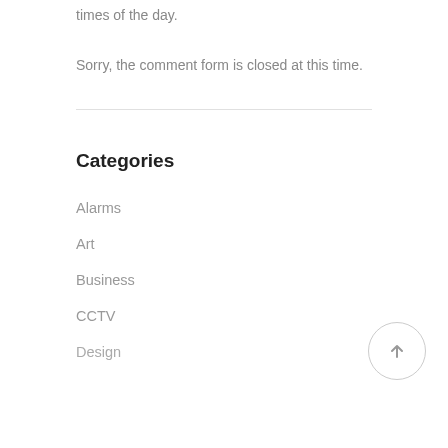times of the day.
Sorry, the comment form is closed at this time.
Categories
Alarms
Art
Business
CCTV
Design